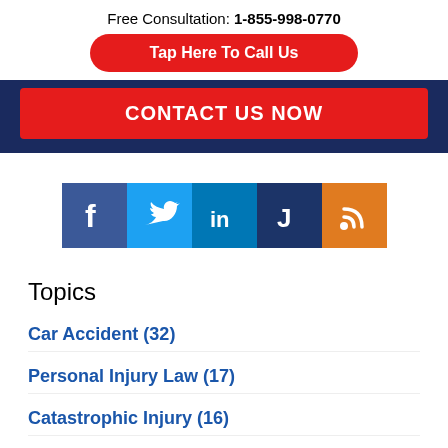Free Consultation: 1-855-998-0770
Tap Here To Call Us
CONTACT US NOW
[Figure (infographic): Social media icons: Facebook (blue), Twitter (light blue), LinkedIn (blue), Justia (dark blue), RSS (orange)]
Topics
Car Accident (32)
Personal Injury Law (17)
Catastrophic Injury (16)
Wrongful Death (13)